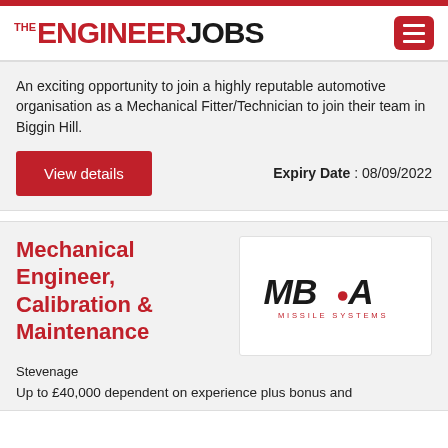THE ENGINEER JOBS
An exciting opportunity to join a highly reputable automotive organisation as a Mechanical Fitter/Technician to join their team in Biggin Hill.
Expiry Date : 08/09/2022
View details
Mechanical Engineer, Calibration & Maintenance
[Figure (logo): MBDA Missile Systems logo in black and red text]
Stevenage
Up to £40,000 dependent on experience plus bonus and